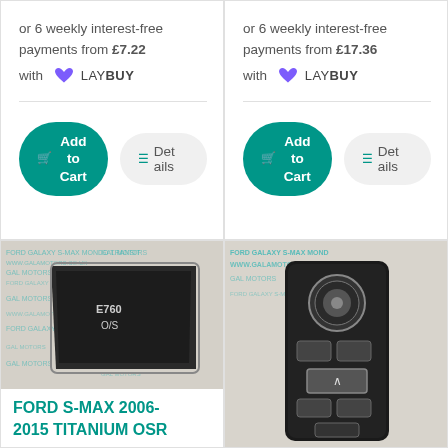or 6 weekly interest-free payments from £7.22 with LAY BUY
or 6 weekly interest-free payments from £17.36 with LAY BUY
[Figure (photo): Ford S-Max car part - OSR quarter window glass, shown on a branded Gala Motors watermark paper background]
[Figure (photo): Ford S-Max or Galaxy window control switch panel with mirror adjustment dial, shown on Gala Motors branded background]
FORD S-MAX 2006-2015 TITANIUM OSR